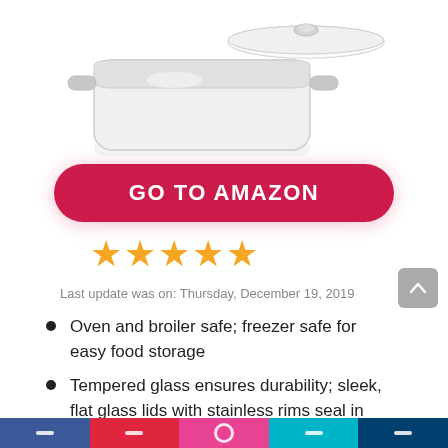[Figure (photo): Product photo of a stainless steel pot with glass lid, cropped at top of page]
GO TO AMAZON
[Figure (other): 5-star rating shown as 5 orange filled stars]
Last update was on: Thursday, December 19, 2019
Oven and broiler safe; freezer safe for easy food storage
Tempered glass ensures durability; sleek, flat glass lids with stainless rims seal in moisture and flavor
Pure aluminum, encapsulated base heats up